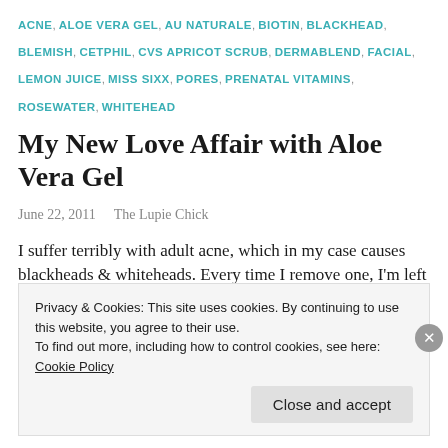ACNE, ALOE VERA GEL, AU NATURALE, BIOTIN, BLACKHEAD, BLEMISH, CETPHIL, CVS APRICOT SCRUB, DERMABLEND, FACIAL, LEMON JUICE, MISS SIXX, PORES, PRENATAL VITAMINS, ROSEWATER, WHITEHEAD
My New Love Affair with Aloe Vera Gel
June 22, 2011   The Lupie Chick
I suffer terribly with adult acne, which in my case causes blackheads & whiteheads. Every time I remove one, I'm left with scarring, bruising, and
Privacy & Cookies: This site uses cookies. By continuing to use this website, you agree to their use.
To find out more, including how to control cookies, see here: Cookie Policy